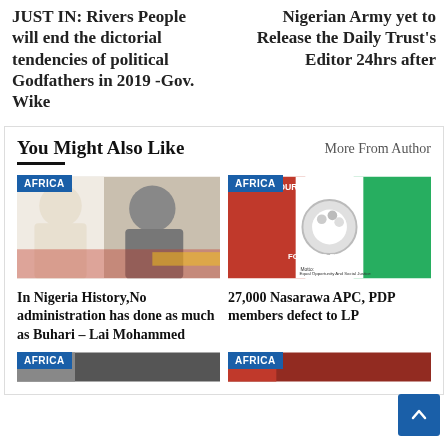JUST IN: Rivers People will end the dictorial tendencies of political Godfathers in 2019 -Gov. Wike
Nigerian Army yet to Release the Daily Trust's Editor 24hrs after
You Might Also Like
More From Author
[Figure (photo): Photo of two men in traditional Nigerian attire at a formal event]
AFRICA
In Nigeria History,No administration has done as much as Buhari – Lai Mohammed
[Figure (photo): Photo of Labour Party (LP) banner with motto Forward Ever and Equal Opportunity And Social Justice]
AFRICA
27,000 Nasarawa APC, PDP members defect to LP
[Figure (photo): Partial photo, bottom left card, dark tones]
AFRICA
[Figure (photo): Partial photo, bottom right card, red tones]
AFRICA